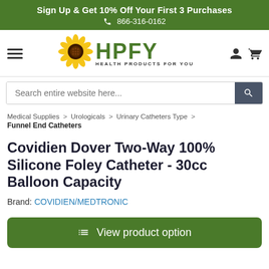Sign Up & Get 10% Off Your First 3 Purchases
📞 866-316-0162
[Figure (logo): HPFY Health Products For You logo with sunflower]
Search entire website here...
Medical Supplies > Urologicals > Urinary Catheters Type > Funnel End Catheters
Covidien Dover Two-Way 100% Silicone Foley Catheter - 30cc Balloon Capacity
Brand: COVIDIEN/MEDTRONIC
View product option